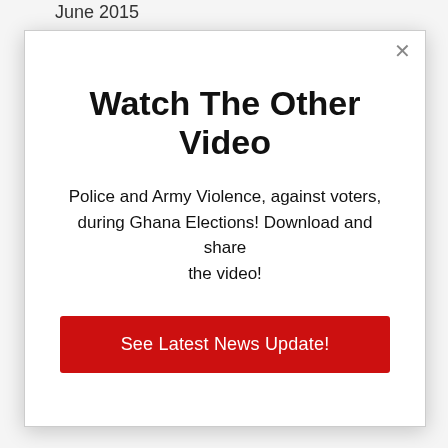June 2015
May 2015
Watch The Other Video
Police and Army Violence, against voters, during Ghana Elections! Download and share the video!
See Latest News Update!